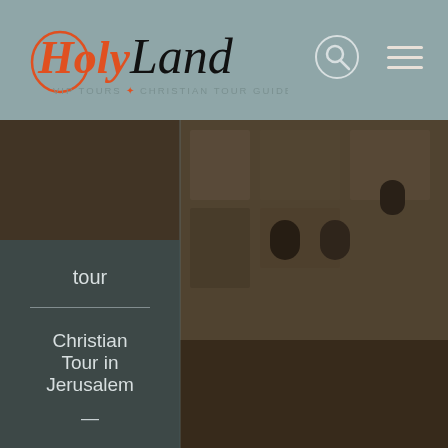[Figure (logo): HolyLand VIP Tours Christian Tour Guides logo — stylized script with orange/red 'Holy' and black 'Land', subtitle 'VIP TOURS | CHRISTIAN TOUR GUIDES']
[Figure (other): Search icon circle with magnifying glass]
[Figure (other): Hamburger menu icon with three horizontal lines]
[Figure (photo): Background photo of Old Jerusalem stone buildings with people in foreground, overlaid with dark tint]
tour
Christian Tour in Jerusalem
Discover Old Jerusalem
Northern